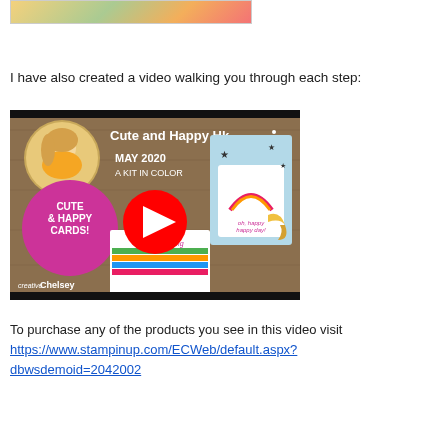[Figure (photo): Partial top image showing crafting/card-making supplies, partially visible at the top of the page]
I have also created a video walking you through each step:
[Figure (screenshot): YouTube video thumbnail for 'Cute and Happy Hk...' by Creative Chelsey, May 2020, A Kit In Color, showing cards including 'Cute & Happy Cards!' with a rainbow card and 'oh, happy happy day!' card. YouTube play button overlay in center.]
To purchase any of the products you see in this video visit https://www.stampinup.com/ECWeb/default.aspx?dbwsdemoid=2042002